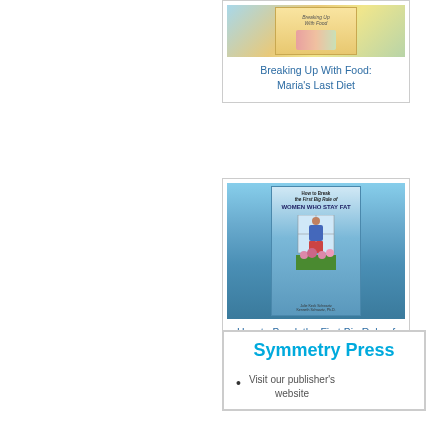[Figure (photo): Book cover image for 'Breaking Up With Food: Maria's Last Diet']
Breaking Up With Food: Maria's Last Diet
[Figure (photo): Book cover image for 'How to Break the First Big Rule of Women Who Stay Fat']
How to Break the First Big Rule of Women Who Stay Fat
Symmetry Press
Visit our publisher's website